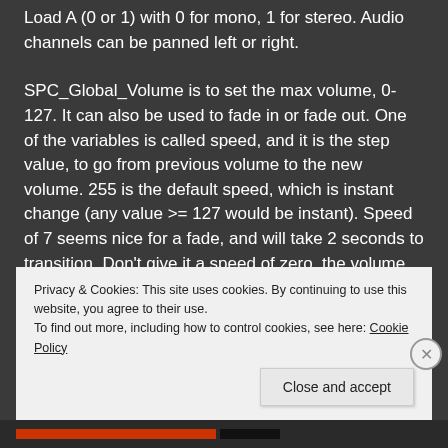Load A (0 or 1) with 0 for mono, 1 for stereo. Audio channels can be panned left or right.
SPC_Global_Volume is to set the max volume, 0-127. It can also be used to fade in or fade out. One of the variables is called speed, and it is the step value, to go from previous volume to the new volume. 255 is the default speed, which is instant change (any value >= 127 would be instant). Speed of 7 seems nice for a fade, and will take 2 seconds to transition. Don't give it a speed of zero, the volume won't change.
AXY8 or AXY16, load A with the speed of volume
Privacy & Cookies: This site uses cookies. By continuing to use this website, you agree to their use.
To find out more, including how to control cookies, see here: Cookie Policy